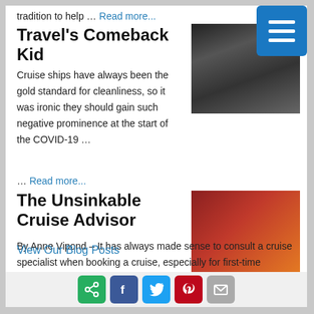tradition to help … Read more...
Travel's Comeback Kid
Cruise ships have always been the gold standard for cleanliness, so it was ironic they should gain such negative prominence at the start of the COVID-19 … Read more...
[Figure (photo): People at a social gathering or cruise event]
The Unsinkable Cruise Advisor
By Anne Vipond – It has always made sense to consult a cruise specialist when booking a cruise, especially for first-time cruisers. There is no extra cost for … Read more...
[Figure (photo): Woman at a desk or signing table at an event]
View Our Blog Posts